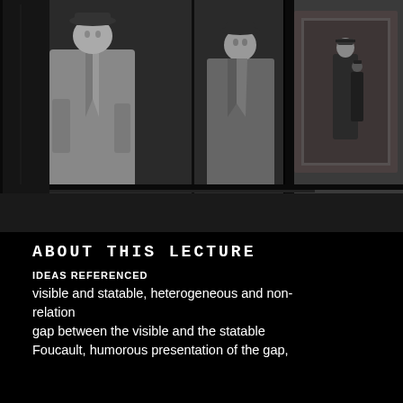[Figure (photo): Black and white photograph of a man in a long coat and hat standing in front of mirrors, creating multiple reflections of himself in an indoor setting with ornate mirror frames.]
ABOUT THIS LECTURE
IDEAS REFERENCED
visible and statable, heterogeneous and non-relation
gap between the visible and the statable
Foucault, humorous presentation of the gap,